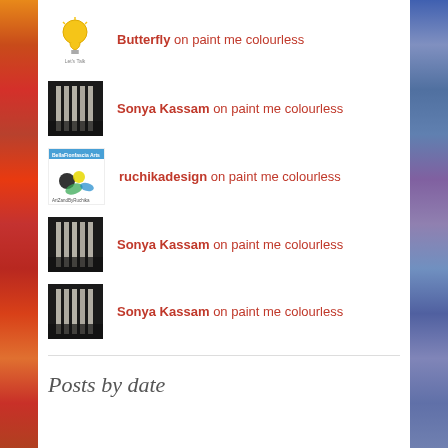Butterfly on paint me colourless
Sonya Kassam on paint me colourless
ruchikadesign on paint me colourless
Sonya Kassam on paint me colourless
Sonya Kassam on paint me colourless
Posts by date